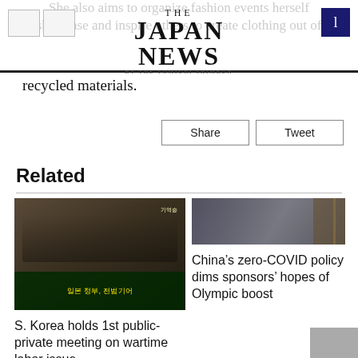THE JAPAN NEWS BY THE YOMIURI SHIMBUN
recycled materials.
Share   Tweet
Related
[Figure (photo): Press conference with people holding signs and banners in Korean, related to wartime labor issue]
S. Korea holds 1st public-private meeting on wartime labor issue
[Figure (photo): Building exterior photo related to China zero-COVID policy and Olympic sponsors story]
China’s zero-COVID policy dims sponsors’ hopes of Olympic boost